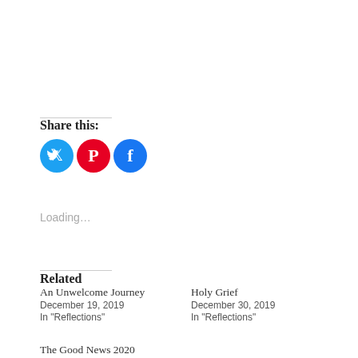Share this:
[Figure (illustration): Three circular social media share buttons: Twitter (blue), Pinterest (red), Facebook (blue)]
Loading...
Related
An Unwelcome Journey
December 19, 2019
In "Reflections"
Holy Grief
December 30, 2019
In "Reflections"
The Good News 2020